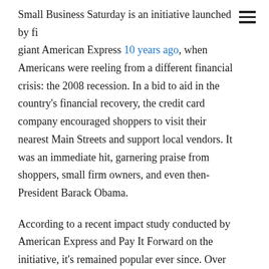Small Business Saturday is an initiative launched by financial giant American Express 10 years ago, when Americans were reeling from a different financial crisis: the 2008 recession. In a bid to aid in the country's financial recovery, the credit card company encouraged shoppers to visit their nearest Main Streets and support local vendors. It was an immediate hit, garnering praise from shoppers, small firm owners, and even then-President Barack Obama.
According to a recent impact study conducted by American Express and Pay It Forward on the initiative, it's remained popular ever since. Over the course of the past 10 years, Americans have spent an estimated $120 billion at local stores on Small Business Saturdays. In 2019 alone, people plunked down $19.6 billion on the shopping holiday.